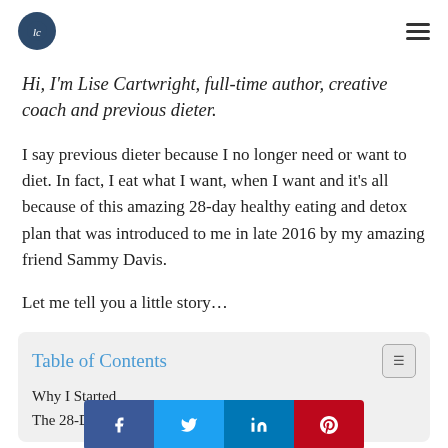[Logo] [Hamburger menu]
Hi, I'm Lise Cartwright, full-time author, creative coach and previous dieter.
I say previous dieter because I no longer need or want to diet. In fact, I eat what I want, when I want and it's all because of this amazing 28-day healthy eating and detox plan that was introduced to me in late 2016 by my amazing friend Sammy Davis.
Let me tell you a little story…
Table of Contents
Why I Started
The 28-Day Detox & Healthy Living Plan